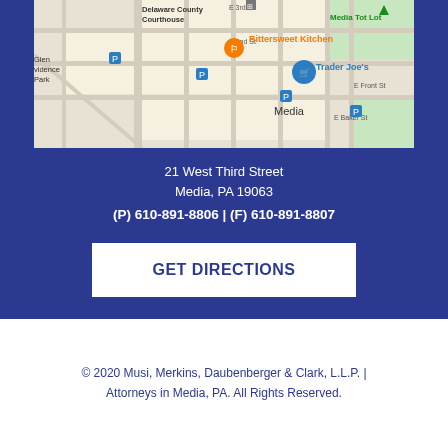[Figure (map): Google Maps screenshot showing Media, PA area with landmarks including Delaware County Courthouse, Media Tot Lot, Bittersweet Kitchen, Trader Joe's, and surrounding streets.]
21 West Third Street
Media, PA 19063
(P) 610-891-8806 | (F) 610-891-8807
GET DIRECTIONS
© 2020 Musi, Merkins, Daubenberger & Clark, L.L.P. | Attorneys in Media, PA. All Rights Reserved.